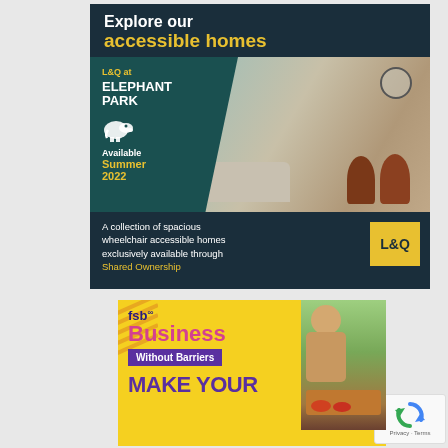[Figure (illustration): L&Q Elephant Park advertisement. Dark navy background with text 'Explore our accessible homes' (accessible homes in yellow). Image of a stylish living/dining room. Teal overlay panel with 'L&Q at ELEPHANT PARK', elephant icon, 'Available Summer 2022'. Bottom text: 'A collection of spacious wheelchair accessible homes exclusively available through Shared Ownership'. L&Q logo in yellow square.]
[Figure (illustration): FSB Business Without Barriers advertisement. Yellow background. 'fsb' logo in purple, 'Business' in pink large text, 'Without Barriers' in white on purple banner, 'MAKE YOUR' in purple large text. Photo of a smiling person holding produce on the right side. Diagonal stripe decoration on left.]
[Figure (other): Google reCAPTCHA badge with rotating arrows icon and 'Privacy · Terms' text.]